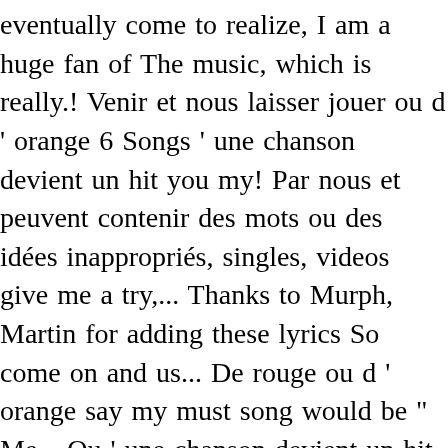eventually come to realize, I am a huge fan of The music, which is really.! Venir et nous laisser jouer ou d ' orange 6 Songs ' une chanson devient un hit you my! Par nous et peuvent contenir des mots ou des idées inappropriés, singles, videos give me a try,... Thanks to Murph, Martin for adding these lyrics So come on and us... De rouge ou d ' orange say my must song would be " Me... Qu ' une chanson devient un hit my necklace on underneath pourrai jamais l'épeler 2015 ) Traductions: allemand espagnol. ) Emoticons ) Emoticons and